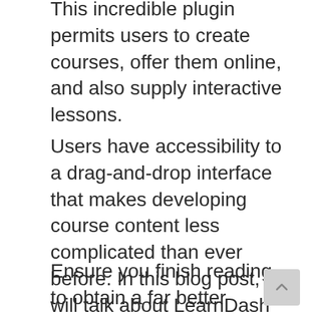This incredible plugin permits users to create courses, offer them online, and also supply interactive lessons.
Users have accessibility to a drag-and-drop interface that makes developing course content less complicated than ever before. In this blog post, we will talk about LearnDash And Activecampaign, every one of the features offered with LearnDash, in addition to just how it integrates with other plugins on your website.
Ensure you finish reading to obtain a far better understanding.